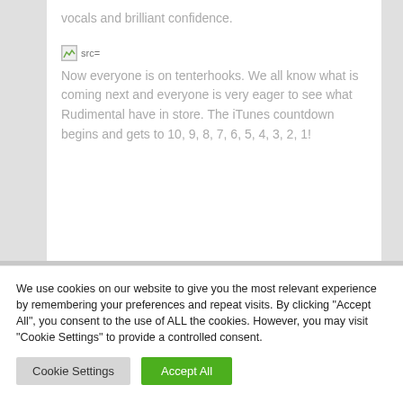vocals and brilliant confidence.
[Figure (other): Broken image placeholder showing 'src=']
Now everyone is on tenterhooks. We all know what is coming next and everyone is very eager to see what Rudimental have in store. The iTunes countdown begins and gets to 10, 9, 8, 7, 6, 5, 4, 3, 2, 1!
We use cookies on our website to give you the most relevant experience by remembering your preferences and repeat visits. By clicking "Accept All", you consent to the use of ALL the cookies. However, you may visit "Cookie Settings" to provide a controlled consent.